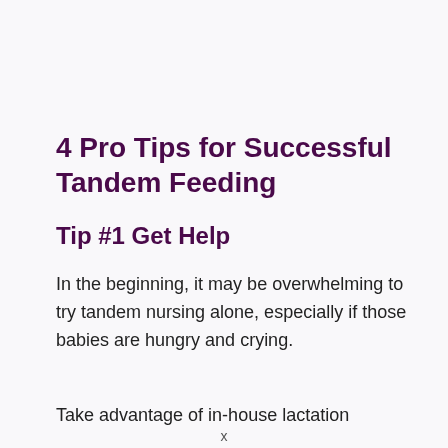4 Pro Tips for Successful Tandem Feeding
Tip #1 Get Help
In the beginning, it may be overwhelming to try tandem nursing alone, especially if those babies are hungry and crying.
Take advantage of in-house lactation
x